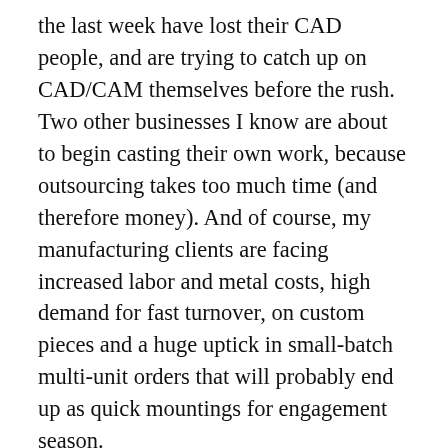the last week have lost their CAD people, and are trying to catch up on CAD/CAM themselves before the rush. Two other businesses I know are about to begin casting their own work, because outsourcing takes too much time (and therefore money). And of course, my manufacturing clients are facing increased labor and metal costs, high demand for fast turnover, on custom pieces and a huge uptick in small-batch multi-unit orders that will probably end up as quick mountings for engagement season.
“We’re in for a wild ride,” they say.
But the saner voices — less panicked, more curious